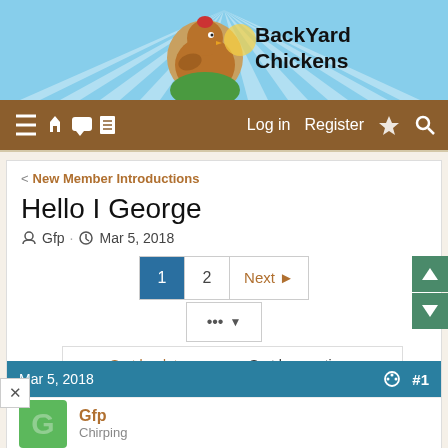[Figure (screenshot): BackYard Chickens website header with chicken mascot logo and sky/rays background]
BackYard Chickens — Navigation bar with Log in, Register links and icons
< New Member Introductions
Hello I George
Gfp · Mar 5, 2018
Pagination: 1 2 Next
... ▼
Sort by date   Sort by reaction score
Mar 5, 2018   #1
Gfp
Chirping